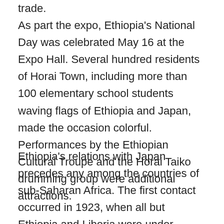trade. As part the expo, Ethiopia's National Day was celebrated May 16 at the Expo Hall. Several hundred residents of Horai Town, including more than 100 elementary school students waving flags of Ethiopia and Japan, made the occasion colorful. Performances by the Ethiopian Cultural Troupe and the Horai Taiko drumming group were additional attractions.
Ethiopia's relations with Japan precedes any among the countries of sub-Saharan Africa. The first contact occurred in 1923, when all but Ethiopia and Liberia were under European colonialism. By the 1930s, relations had developed into formal diplomatic ties. Following the interruption during the Italian occupation of Ethiopia, from 1935 to 1940, formal relations were resumed in 1955.